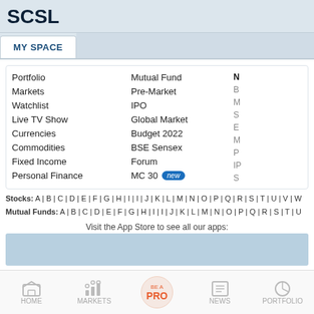SCSL
MY SPACE
Portfolio
Markets
Watchlist
Live TV Show
Currencies
Commodities
Fixed Income
Personal Finance
Mutual Fund
Pre-Market
IPO
Global Market
Budget 2022
BSE Sensex
Forum
MC 30 new
Stocks: A|B|C|D|E|F|G|H|I|I|J|K|L|M|N|O|P|Q|R|S|T|U|V|W
Mutual Funds: A|B|C|D|E|F|G|H|I|I|J|K|L|M|N|O|P|Q|R|S|T|U
Visit the App Store to see all our apps:
HOME  MARKETS  BE A PRO  NEWS  PORTFOLIO